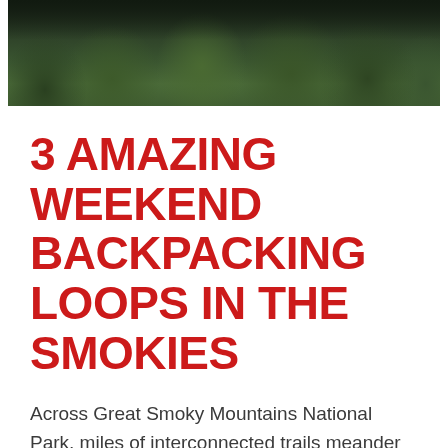[Figure (photo): Aerial or close-up view of dense green forest trees with dark canopy, mountain forest scene from Great Smoky Mountains National Park]
3 AMAZING WEEKEND BACKPACKING LOOPS IN THE SMOKIES
Across Great Smoky Mountains National Park, miles of interconnected trails meander through lush, green valleys, hug the banks of moss-laden, rocky creeks, and climb through thickets of mountain laurel and rhododendron to the blue-